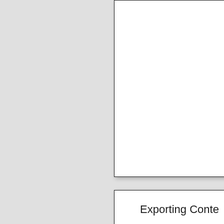[Figure (screenshot): Top panel: white box with border, mostly blank content (upper portion of a document page, cropped).]
[Figure (screenshot): Bottom panel: white box with border showing 'Exporting Conte' (text cut off at right edge) and partial subtitle text below.]